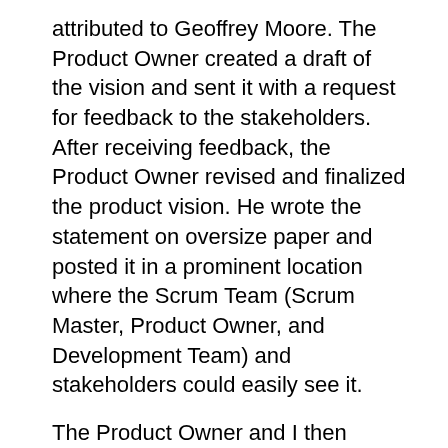attributed to Geoffrey Moore. The Product Owner created a draft of the vision and sent it with a request for feedback to the stakeholders. After receiving feedback, the Product Owner revised and finalized the product vision. He wrote the statement on oversize paper and posted it in a prominent location where the Scrum Team (Scrum Master, Product Owner, and Development Team) and stakeholders could easily see it.
The Product Owner and I then discussed techniques on creating and maintaining a product roadmap/release plan. He opted for a simple table with four rows and four columns. The rows included:
Name (the title of the product or major release),